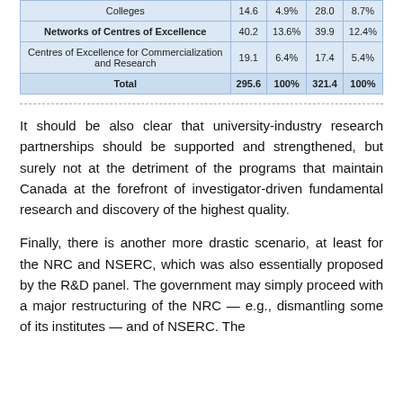|  |  |  |  |  |
| --- | --- | --- | --- | --- |
| Colleges | 14.6 | 4.9% | 28.0 | 8.7% |
| Networks of Centres of Excellence | 40.2 | 13.6% | 39.9 | 12.4% |
| Centres of Excellence for Commercialization and Research | 19.1 | 6.4% | 17.4 | 5.4% |
| Total | 295.6 | 100% | 321.4 | 100% |
It should be also clear that university-industry research partnerships should be supported and strengthened, but surely not at the detriment of the programs that maintain Canada at the forefront of investigator-driven fundamental research and discovery of the highest quality.
Finally, there is another more drastic scenario, at least for the NRC and NSERC, which was also essentially proposed by the R&D panel. The government may simply proceed with a major restructuring of the NRC — e.g., dismantling some of its institutes — and of NSERC. The